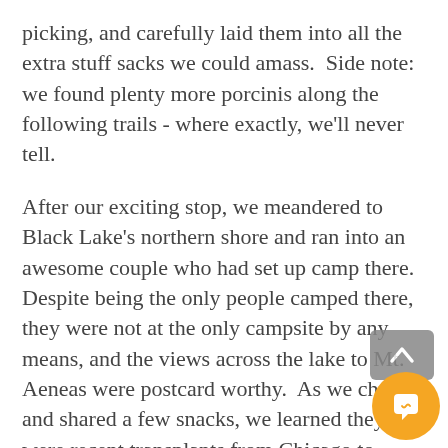picking, and carefully laid them into all the extra stuff sacks we could amass.  Side note: we found plenty more porcinis along the following trails - where exactly, we'll never tell.
After our exciting stop, we meandered to Black Lake's northern shore and ran into an awesome couple who had set up camp there.  Despite being the only people camped there, they were not at the only campsite by any means, and the views across the lake to Mt. Aeneas were postcard worthy.  As we chatted and shared a few snacks, we learned they were recent transplants from Chicago to Montana, having moved to experience the incredible geography the area offered.  Being a